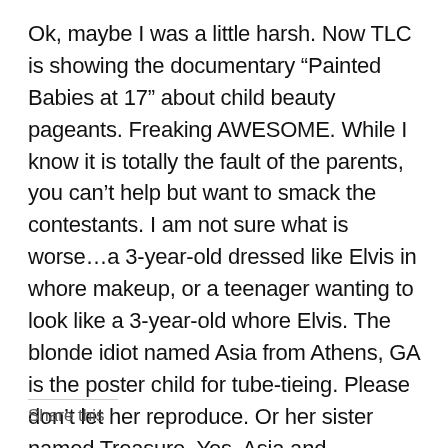Ok, maybe I was a little harsh. Now TLC is showing the documentary “Painted Babies at 17” about child beauty pageants. Freaking AWESOME. While I know it is totally the fault of the parents, you can’t help but want to smack the contestants. I am not sure what is worse…a 3-year-old dressed like Elvis in whore makeup, or a teenager wanting to look like a 3-year-old whore Elvis. The blonde idiot named Asia from Athens, GA is the poster child for tube-tieing. Please don’t let her reproduce. Or her sister named Treasure. Yes, Asia and Treasure…the white girls from Georgia.
Share this